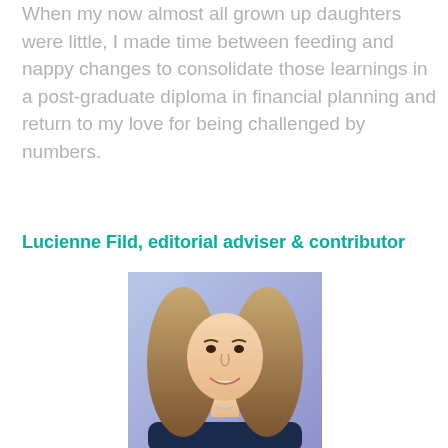When my now almost all grown up daughters were little, I made time between feeding and nappy changes to consolidate those learnings in a post-graduate diploma in financial planning and return to my love for being challenged by numbers.
Lucienne Fild, editorial adviser & contributor
[Figure (photo): Professional headshot of Lucienne Fild, a woman with shoulder-length blonde hair, smiling, wearing a dark jacket, against a blue/purple background.]